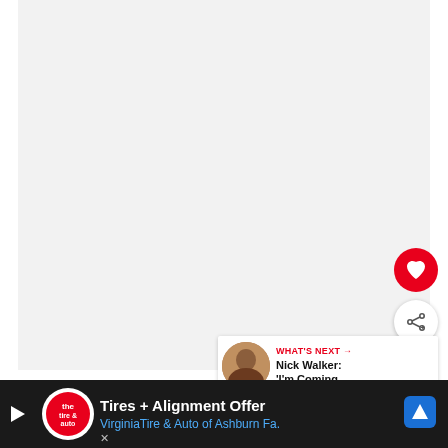[Figure (photo): Large light gray image area representing a video or photo placeholder]
[Figure (illustration): Red circular heart/favorite button icon]
[Figure (illustration): White circular share button with share icon]
[Figure (screenshot): What's Next panel with thumbnail and text: WHAT'S NEXT → Nick Walker: 'I'm Coming ...']
By the third round, Jerdzeiczyk got better and lan... ...n the
[Figure (screenshot): Advertisement bar: Tires + Alignment Offer — VirginiaTire & Auto of Ashburn Fa.]